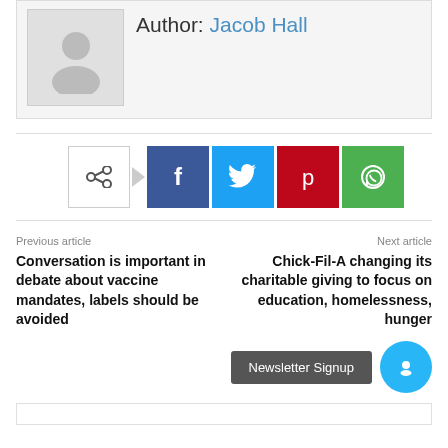Author: Jacob Hall
[Figure (illustration): Generic user avatar placeholder icon — gray silhouette of a person on light gray background]
[Figure (infographic): Social share buttons: share icon button, Facebook (blue), Twitter (cyan), Pinterest (red), WhatsApp (green)]
Previous article
Conversation is important in debate about vaccine mandates, labels should be avoided
Next article
Chick-Fil-A changing its charitable giving to focus on education, homelessness, hunger
Newsletter Signup